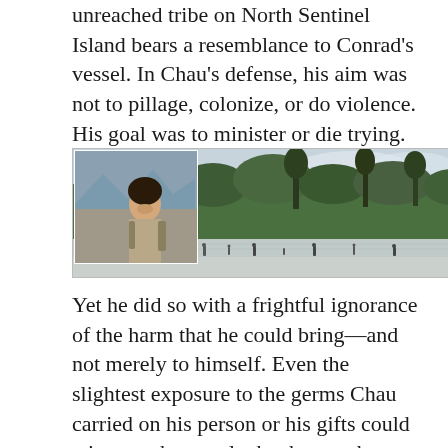unreached tribe on North Sentinel Island bears a resemblance to Conrad’s vessel. In Chau’s defense, his aim was not to pillage, colonize, or do violence. His goal was to minister or die trying.
[Figure (photo): Composite photo showing a portrait of a young man smiling with a backpack in an outdoor setting (top left inset), and a wide shot of a dense tropical island tree line from the water with small figures of people visible on the beach in the foreground.]
Yet he did so with a frightful ignorance of the harm that he could bring—and not merely to himself. Even the slightest exposure to the germs Chau carried on his person or his gifts could wipe out the people that he sought to save. Yet “there [he] was, incomprehensible,” firing himself into an island